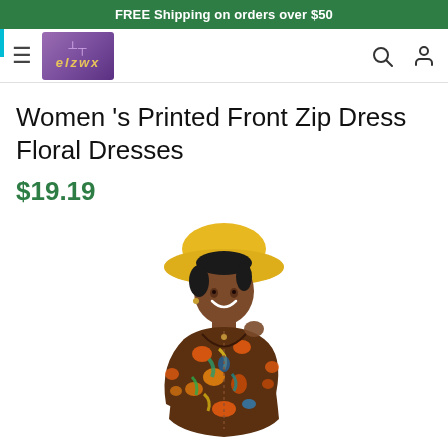FREE Shipping on orders over $50
[Figure (logo): elzwx brand logo - purple background with decorative symbol and gold italic text]
Women 's Printed Front Zip Dress Floral Dresses
$19.19
[Figure (photo): Woman wearing a colorful animal print front zip dress with brown, orange, green, and blue pattern, paired with a yellow wide-brim hat]